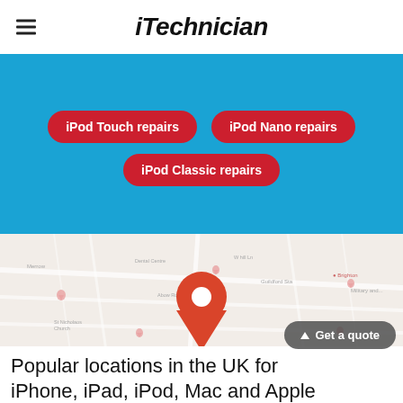iTechnician
iPod Touch repairs
iPod Nano repairs
iPod Classic repairs
[Figure (map): Google Maps view of UK showing location pins, with a large red map marker pin in the center]
Popular locations in the UK for iPhone, iPad, iPod, Mac and Apple